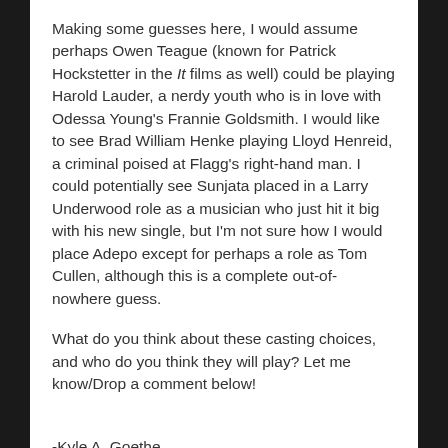Making some guesses here, I would assume perhaps Owen Teague (known for Patrick Hockstetter in the It films as well) could be playing Harold Lauder, a nerdy youth who is in love with Odessa Young's Frannie Goldsmith. I would like to see Brad William Henke playing Lloyd Henreid, a criminal poised at Flagg's right-hand man. I could potentially see Sunjata placed in a Larry Underwood role as a musician who just hit it big with his new single, but I'm not sure how I would place Adepo except for perhaps a role as Tom Cullen, although this is a complete out-of-nowhere guess.
What do you think about these casting choices, and who do you think they will play? Let me know/Drop a comment below!
-Kyle A. Goethe